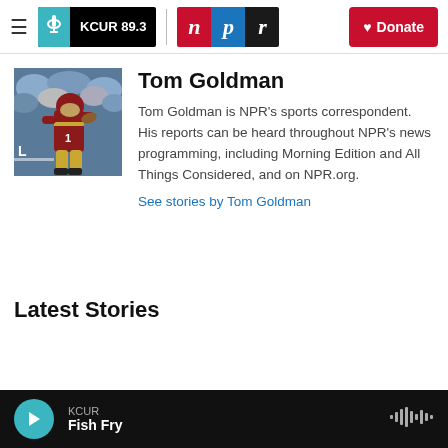KCUR 89.3 | NPR | Donate
[Figure (photo): Photo of a football player in dark red uniform running with the ball during a game, crowd in background]
Tom Goldman
Tom Goldman is NPR's sports correspondent. His reports can be heard throughout NPR's news programming, including Morning Edition and All Things Considered, and on NPR.org.
See stories by Tom Goldman
Latest Stories
KCUR | Fish Fry